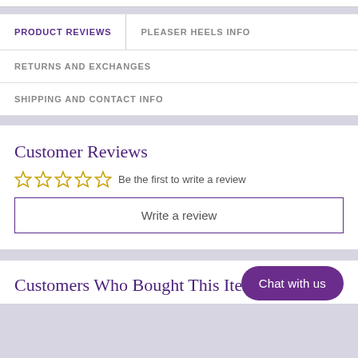PRODUCT REVIEWS
PLEASER HEELS INFO
RETURNS AND EXCHANGES
SHIPPING AND CONTACT INFO
Customer Reviews
☆☆☆☆☆  Be the first to write a review
Write a review
Chat with us
Customers Who Bought This Item